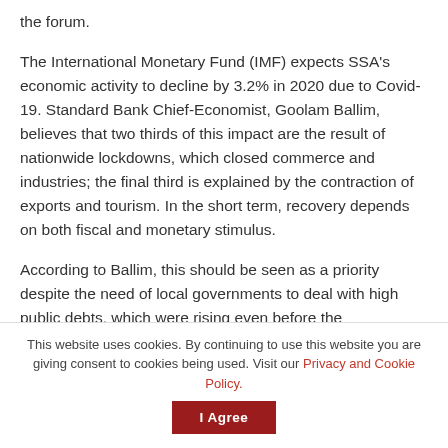the forum.
The International Monetary Fund (IMF) expects SSA's economic activity to decline by 3.2% in 2020 due to Covid-19. Standard Bank Chief-Economist, Goolam Ballim, believes that two thirds of this impact are the result of nationwide lockdowns, which closed commerce and industries; the final third is explained by the contraction of exports and tourism. In the short term, recovery depends on both fiscal and monetary stimulus.
According to Ballim, this should be seen as a priority despite the need of local governments to deal with high public debts, which were rising even before the
This website uses cookies. By continuing to use this website you are giving consent to cookies being used. Visit our Privacy and Cookie Policy.   I Agree